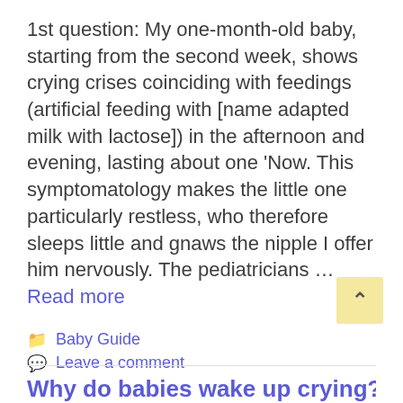1st question: My one-month-old baby, starting from the second week, shows crying crises coinciding with feedings (artificial feeding with [name adapted milk with lactose]) in the afternoon and evening, lasting about one 'Now. This symptomatology makes the little one particularly restless, who therefore sleeps little and gnaws the nipple I offer him nervously. The pediatricians … Read more
Baby Guide
Leave a comment
Why do babies wake up crying?